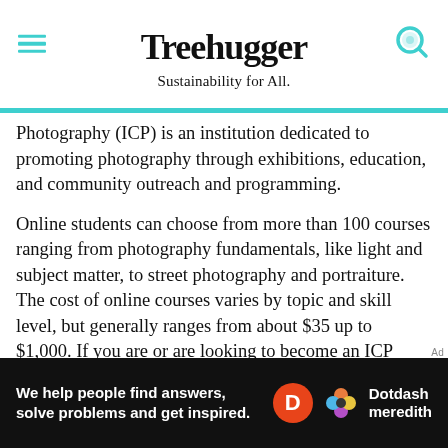Treehugger — Sustainability for All.
Photography (ICP) is an institution dedicated to promoting photography through exhibitions, education, and community outreach and programming.
Online students can choose from more than 100 courses ranging from photography fundamentals, like light and subject matter, to street photography and portraiture. The cost of online courses varies by topic and skill level, but generally ranges from about $35 up to $1,000. If you are or are looking to become an ICP member, you'll receive about $25 off all courses.
Beyond ICP's courses and workshops, students can opt
[Figure (other): Dotdash Meredith advertisement banner: 'We help people find answers, solve problems and get inspired.' with Dotdash Meredith logo.]